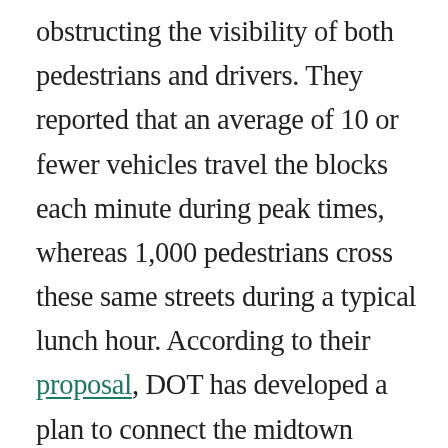obstructing the visibility of both pedestrians and drivers. They reported that an average of 10 or fewer vehicles travel the blocks each minute during peak times, whereas 1,000 pedestrians cross these same streets during a typical lunch hour. According to their proposal, DOT has developed a plan to connect the midtown arcades by installing stop signs, crosswalks, and pedestrians-only waiting areas. This would unite the arcades into an official (and safe) pedestrian path. Opening up this passageway would improve the city's pedestrian flow in Midtown as well as the possibility for future